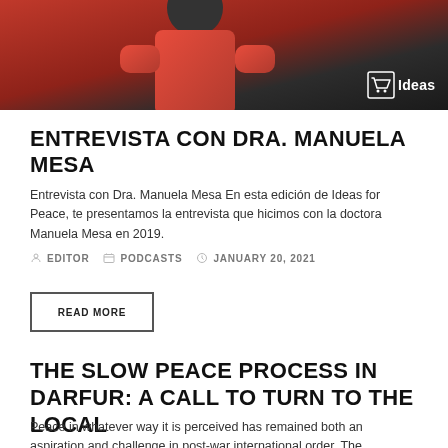[Figure (photo): Person in red shirt with dark background, Ideas for Peace logo in bottom right corner]
ENTREVISTA CON DRA. MANUELA MESA
Entrevista con Dra. Manuela Mesa En esta edición de Ideas for Peace, te presentamos la entrevista que hicimos con la doctora Manuela Mesa en 2019.
EDITOR  PODCASTS  JANUARY 20, 2021
READ MORE
THE SLOW PEACE PROCESS IN DARFUR: A CALL TO TURN TO THE LOCAL
Peace in whatever way it is perceived has remained both an aspiration and challenge in post-war international order. The combined effect of this struggle
EDITOR  ARTICLES  JUNE 10, 2020